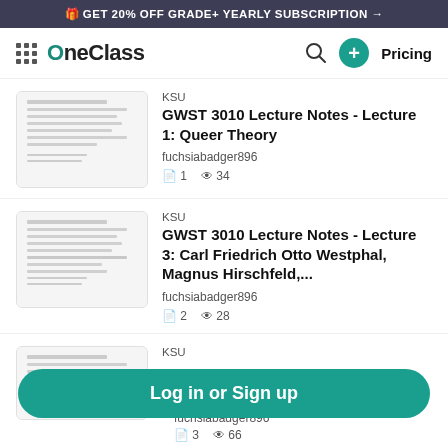🎁 GET 20% OFF GRADE+ YEARLY SUBSCRIPTION →
[Figure (logo): OneClass logo with grid icon, search icon, plus button, and Pricing link]
KSU
GWST 3010 Lecture Notes - Lecture 1: Queer Theory
fuchsiabadger896
📄 1   👁 34
KSU
GWST 3010 Lecture Notes - Lecture 3: Carl Friedrich Otto Westphal, Magnus Hirschfeld,...
fuchsiabadger896
📄 2   👁 28
KSU
Log in or Sign up
fuchsiabadger896
📄 3   👁 66